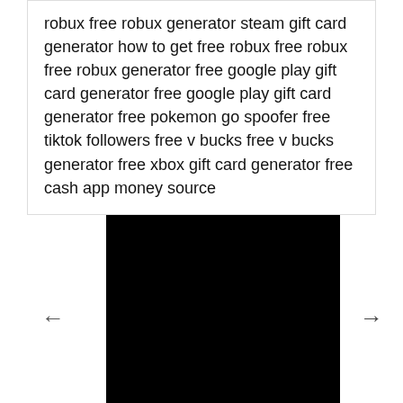robux free robux generator steam gift card generator how to get free robux free robux free robux generator free google play gift card generator free google play gift card generator free pokemon go spoofer free tiktok followers free v bucks free v bucks generator free xbox gift card generator free cash app money source
[Figure (other): A content slider/carousel section with left arrow navigation, black center panel, and right arrow navigation box on a white background.]
News
Home / About us / Contact Us / Disclaimer / Privacy Policy / DMCA